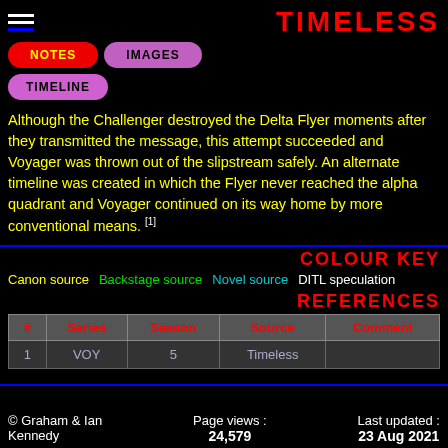TIMELESS
Although the Challenger destroyed the Delta Flyer moments after they transmitted the message, this attempt succeeded and Voyager was thrown out of the slipstream safely. An alternate timeline was created in which the Flyer never reached the alpha quadrant and Voyager continued on its way home by more conventional means. [1]
COLOUR KEY
Canon source   Backstage source   Novel source   DITL speculation
REFERENCES
| # | Series | Season | Source | Comment |
| --- | --- | --- | --- | --- |
| 1 | VOY | 5 | Timeless |  |
© Graham & Ian Kennedy   Page views : 24,579   Last updated : 23 Aug 2021